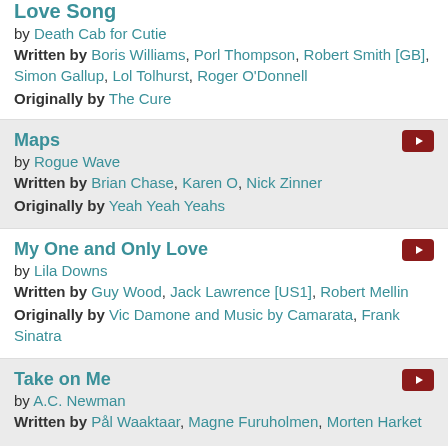Love Song by Death Cab for Cutie. Written by Boris Williams, Porl Thompson, Robert Smith [GB], Simon Gallup, Lol Tolhurst, Roger O'Donnell. Originally by The Cure
Maps by Rogue Wave. Written by Brian Chase, Karen O, Nick Zinner. Originally by Yeah Yeah Yeahs
My One and Only Love by Lila Downs. Written by Guy Wood, Jack Lawrence [US1], Robert Mellin. Originally by Vic Damone and Music by Camarata, Frank Sinatra
Take on Me by A.C. Newman. Written by Pål Waaktaar, Magne Furuholmen, Morten Harket